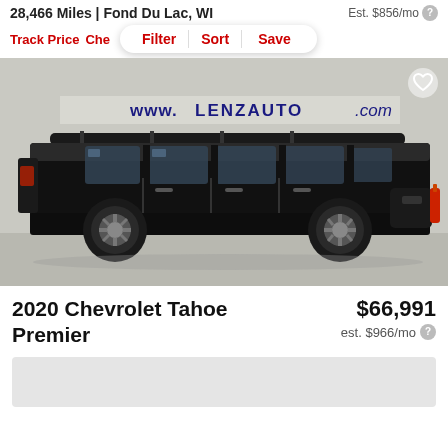28,466 Miles | Fond Du Lac, WI
Est. $856/mo ?
Track Price   Che   Filter   Sort   Save
[Figure (photo): Black 2020 Chevrolet Tahoe Premier SUV parked inside Lenz Auto dealership, side profile view. White background with www.LENZAUTO.com banner visible.]
2020 Chevrolet Tahoe Premier
$66,991
est. $966/mo ?